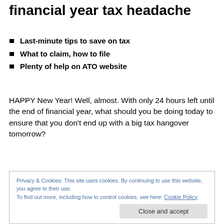financial year tax headache
Last-minute tips to save on tax
What to claim, how to file
Plenty of help on ATO website
HAPPY New Year! Well, almost. With only 24 hours left until the end of financial year, what should you be doing today to ensure that you don’t end up with a big tax hangover tomorrow?
“Don’t forget to pay your expenses,” says Tracey
Privacy & Cookies: This site uses cookies. By continuing to use this website, you agree to their use.
To find out more, including how to control cookies, see here: Cookie Policy